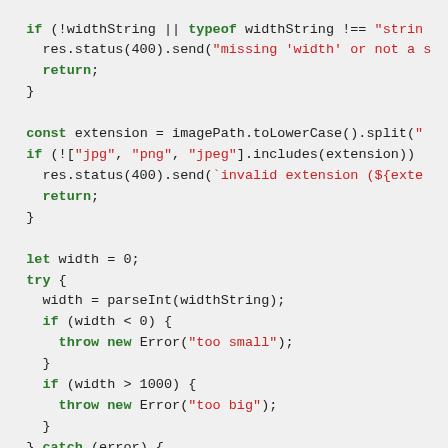[Figure (screenshot): A code snippet in JavaScript with syntax highlighting. Green bold keywords, red strings, black/dark normal code. Shows validation logic for widthString and imagePath extension, try/catch block for parseInt, and a partial admin/storage section.]